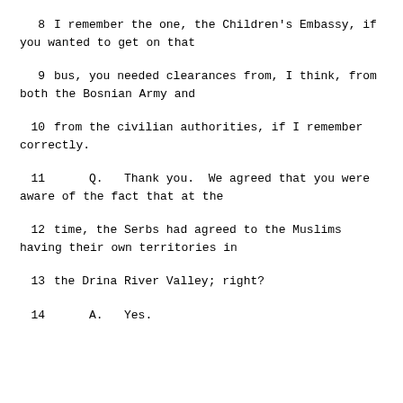8    I remember the one, the Children's Embassy, if you wanted to get on that
9    bus, you needed clearances from, I think, from both the Bosnian Army and
10    from the civilian authorities, if I remember correctly.
11    Q.    Thank you.  We agreed that you were aware of the fact that at the
12    time, the Serbs had agreed to the Muslims having their own territories in
13    the Drina River Valley; right?
14    A.    Yes.